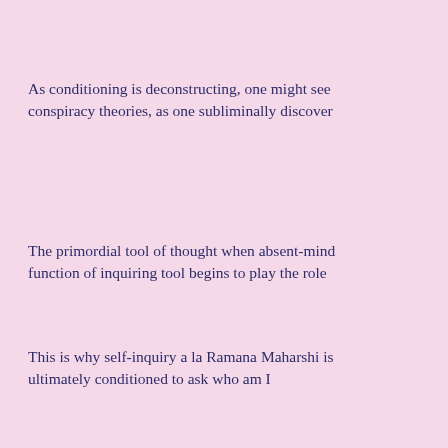As conditioning is deconstructing, one might see conspiracy theories, as one subliminally discover
The primordial tool of thought when absent-mind function of inquiring tool begins to play the role
This is why self-inquiry a la Ramana Maharshi is ultimately conditioned to ask who am I
and I am That which playfully asks. Look, JFK's My mother was the Gulf of Tonkin.
Cherry blossoms never fall. Winter likes to summ imagine Ariel and Caliban! Maharshi, Maharaj.
My prescription is default to consciousness at lea